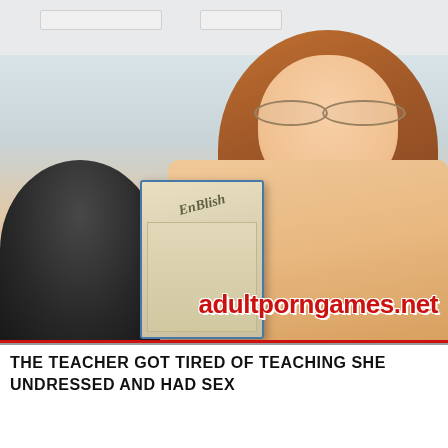[Figure (illustration): Anime-style illustration of a female teacher character with brown hair and glasses, holding a book labeled 'EnBlish', shown from the waist up without top clothing. A dark-haired figure is visible in the foreground lower left. Classroom setting with ceiling lights and a window visible in the background. Watermark text 'adultporngames.net' in red with white outline at bottom right of image.]
THE TEACHER GOT TIRED OF TEACHING SHE UNDRESSED AND HAD SEX